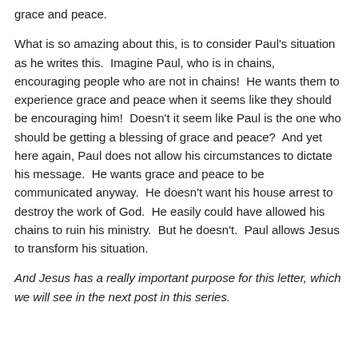grace and peace.
What is so amazing about this, is to consider Paul's situation as he writes this.  Imagine Paul, who is in chains, encouraging people who are not in chains!  He wants them to experience grace and peace when it seems like they should be encouraging him!  Doesn't it seem like Paul is the one who should be getting a blessing of grace and peace?  And yet here again, Paul does not allow his circumstances to dictate his message.  He wants grace and peace to be communicated anyway.  He doesn't want his house arrest to destroy the work of God.  He easily could have allowed his chains to ruin his ministry.  But he doesn't.  Paul allows Jesus to transform his situation.
And Jesus has a really important purpose for this letter, which we will see in the next post in this series.